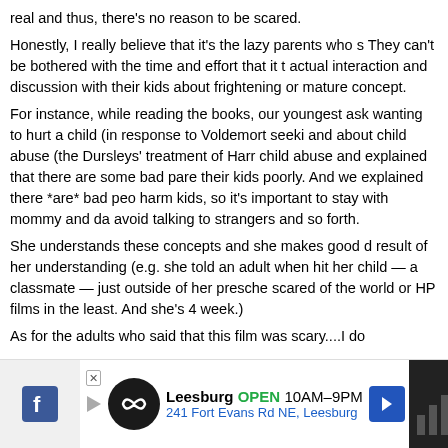real and thus, there's no reason to be scared.

Honestly, I really believe that it's the lazy parents who s They can't be bothered with the time and effort that it t actual interaction and discussion with their kids about frightening or mature concept.
For instance, while reading the books, our youngest ask wanting to hurt a child (in response to Voldemort seeki and about child abuse (the Dursleys' treatment of Harr child abuse and explained that there are some bad pare their kids poorly. And we explained there *are* bad peo harm kids, so it's important to stay with mommy and da avoid talking to strangers and so forth.
She understands these concepts and she makes good d result of her understanding (e.g. she told an adult when hit her child — a classmate — just outside of her presche scared of the world or HP films in the least. And she's 4 week.)

As for the adults who said that this film was scary....I do
[Figure (infographic): Advertisement bar: Leesburg store ad with logo circle, OPEN 10AM-9PM, 241 Fort Evans Rd NE Leesburg, navigation arrow, and dark image panel on right with X close button]